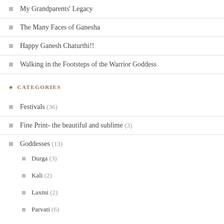My Grandparents' Legacy
The Many Faces of Ganesha
Happy Ganesh Chaturthi!!
Walking in the Footsteps of the Warrior Goddess
CATEGORIES
Festivals (36)
Fine Print- the beautiful and sublime (3)
Goddesses (13)
Durga (3)
Kali (2)
Laxmi (2)
Parvati (6)
Prithvi (1)
Saraswati (3)
Gods (18)
Brahma (1)